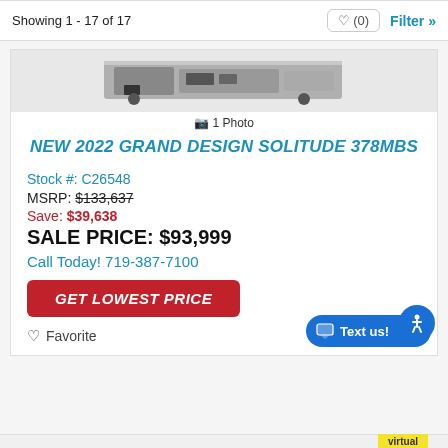Showing 1 - 17 of 17
[Figure (photo): Product image of a 2022 Grand Design Solitude 378MBS fifth-wheel RV, shown as a partial thumbnail]
1 Photo
NEW 2022 GRAND DESIGN SOLITUDE 378MBS
Stock #: C26548
MSRP: $133,637
Save: $39,638
SALE PRICE: $93,999
Call Today! 719-387-7100
GET LOWEST PRICE
Favorite